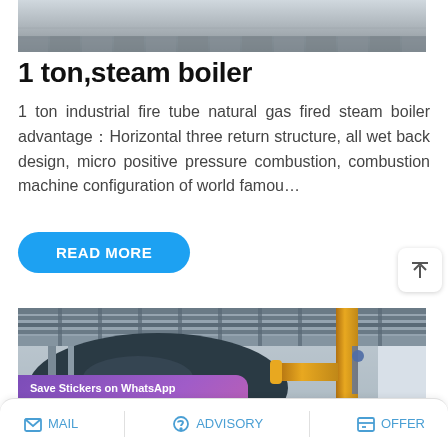[Figure (photo): Industrial equipment photo showing a factory/laser cutting machine from above, partially cropped]
1 ton,steam boiler
1 ton industrial fire tube natural gas fired steam boiler advantage：Horizontal three return structure, all wet back design, micro positive pressure combustion, combustion machine configuration of world famou…
[Figure (other): Read More button (blue rounded button)]
[Figure (photo): Industrial boiler room interior showing large cylindrical boiler, yellow gas pipes, metallic ceiling structure, with a WhatsApp/WeChat Save Stickers overlay banner]
MAIL   ADVISORY   OFFER